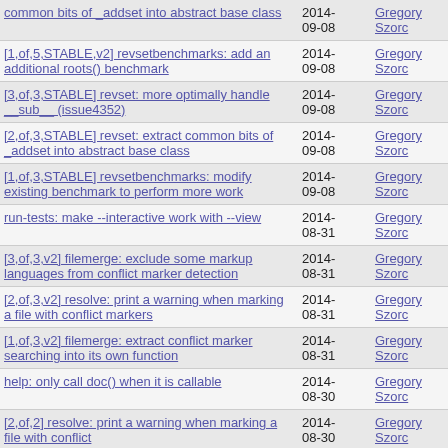| Title | Date | Author | Status |
| --- | --- | --- | --- |
| common bits of _addset into abstract base class | 2014-09-08 | Gregory Szorc | R |
| [1,of,5,STABLE,v2] revsetbenchmarks: add an additional roots() benchmark | 2014-09-08 | Gregory Szorc | A |
| [3,of,3,STABLE] revset: more optimally handle __sub__ (issue4352) | 2014-09-08 | Gregory Szorc | C R |
| [2,of,3,STABLE] revset: extract common bits of _addset into abstract base class | 2014-09-08 | Gregory Szorc | C R |
| [1,of,3,STABLE] revsetbenchmarks: modify existing benchmark to perform more work | 2014-09-08 | Gregory Szorc | C R |
| run-tests: make --interactive work with --view | 2014-08-31 | Gregory Szorc | A |
| [3,of,3,v2] filemerge: exclude some markup languages from conflict marker detection | 2014-08-31 | Gregory Szorc | A |
| [2,of,3,v2] resolve: print a warning when marking a file with conflict markers | 2014-08-31 | Gregory Szorc | A |
| [1,of,3,v2] filemerge: extract conflict marker searching into its own function | 2014-08-31 | Gregory Szorc | A |
| help: only call doc() when it is callable | 2014-08-30 | Gregory Szorc | A |
| [2,of,2] resolve: print a warning when marking a file with conflict | 2014-08-30 | Gregory Szorc | S |